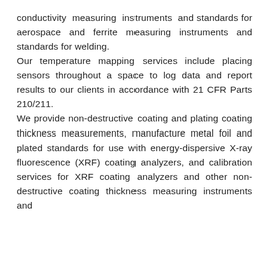conductivity measuring instruments and standards for aerospace and ferrite measuring instruments and standards for welding.
Our temperature mapping services include placing sensors throughout a space to log data and report results to our clients in accordance with 21 CFR Parts 210/211.
We provide non-destructive coating and plating coating thickness measurements, manufacture metal foil and plated standards for use with energy-dispersive X-ray fluorescence (XRF) coating analyzers, and calibration services for XRF coating analyzers and other non-destructive coating thickness measuring instruments and calibration standards. Calibration services for